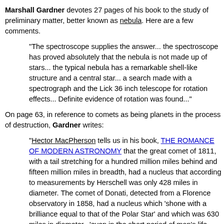Marshall Gardner devotes 27 pages of his book to the study of preliminary matter, better known as nebula. Here are a few comments.
"The spectroscope supplies the answer... the spectroscope has proved absolutely that the nebula is not made up of stars... the typical nebula has a remarkable shell-like structure and a central star... a search made with a spectrograph and the Lick 36 inch telescope for rotation effects... Definite evidence of rotation was found..."
On page 63, in reference to comets as being planets in the process of destruction, Gardner writes:
"Hector MacPherson tells us in his book, THE ROMANCE OF MODERN ASTRONOMY that the great comet of 1811, with a tail stretching for a hundred million miles behind and fifteen million miles in breadth, had a nucleus that according to measurements by Herschell was only 428 miles in diameter. The comet of Donati, detected from a Florence observatory in 1858, had a nucleus which 'shone with a brilliance equal to that of the Polar Star' and which was 630 miles in diameter...'even in the short period of man's life comets have been seen to break up and disappear'."
Included in his many observations concerning Mars, Gardner points out that the numerous reports of the Martian pole being very bright and making rapid changes,
"...the light from the polar region of Mars is a direct illuminant from within the planet, because that light, seen at night, is yellow. Any other sort of light, a reflection from a snowy surface, for instance, or a